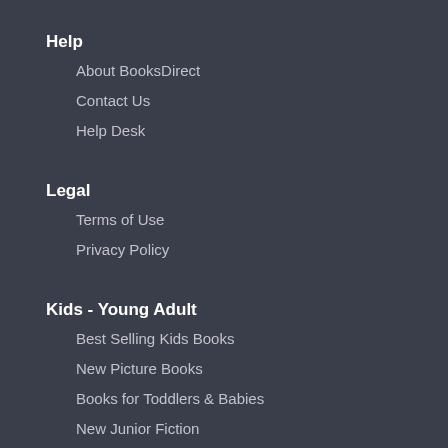Help
About BooksDirect
Contact Us
Help Desk
Legal
Terms of Use
Privacy Policy
Kids - Young Adult
Best Selling Kids Books
New Picture Books
Books for Toddlers & Babies
New Junior Fiction
Non-Fiction for Kids
Premier's Reading Challenge
Graphic Novels & Comics
New YA Fiction